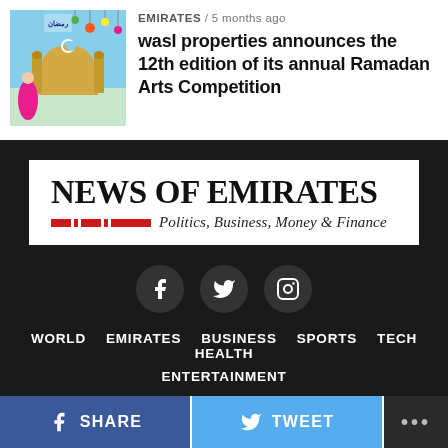[Figure (illustration): Thumbnail illustration of a mosque dome with Arabic decorations and a figure in pink/red, colorful Ramadan art style]
EMIRATES / 5 months ago
wasl properties announces the 12th edition of its annual Ramadan Arts Competition
[Figure (logo): News of Emirates logo — Politics, Business, Money & Finance]
[Figure (infographic): Social media icons: Facebook, Twitter, Instagram in dark circular buttons]
WORLD   EMIRATES   BUSINESS   SPORTS   TECH   HEALTH   ENTERTAINMENT
SHARE   TWEET   ...